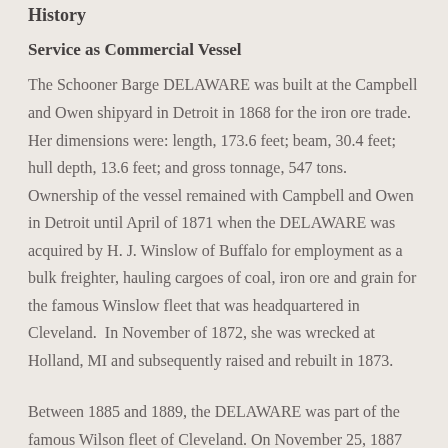History
Service as Commercial Vessel
The Schooner Barge DELAWARE was built at the Campbell and Owen shipyard in Detroit in 1868 for the iron ore trade. Her dimensions were: length, 173.6 feet; beam, 30.4 feet; hull depth, 13.6 feet; and gross tonnage, 547 tons. Ownership of the vessel remained with Campbell and Owen in Detroit until April of 1871 when the DELAWARE was acquired by H. J. Winslow of Buffalo for employment as a bulk freighter, hauling cargoes of coal, iron ore and grain for the famous Winslow fleet that was headquartered in Cleveland.  In November of 1872, she was wrecked at Holland, MI and subsequently raised and rebuilt in 1873.
Between 1885 and 1889, the DELAWARE was part of the famous Wilson fleet of Cleveland. On November 25, 1887 she was wrecked at Hammond Bay, MI while carrying a load